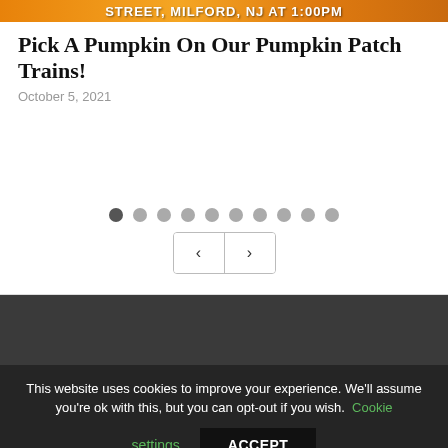[Figure (photo): Orange/warm-toned banner image with white bold text reading 'STREET, MILFORD, NJ AT 1:00PM' partially visible]
Pick A Pumpkin On Our Pumpkin Patch Trains!
October 5, 2021
[Figure (other): Slideshow navigation area with 10 dot indicators (first dot active/darker) and previous/next arrow buttons]
This website uses cookies to improve your experience. We'll assume you're ok with this, but you can opt-out if you wish. Cookie settings ACCEPT